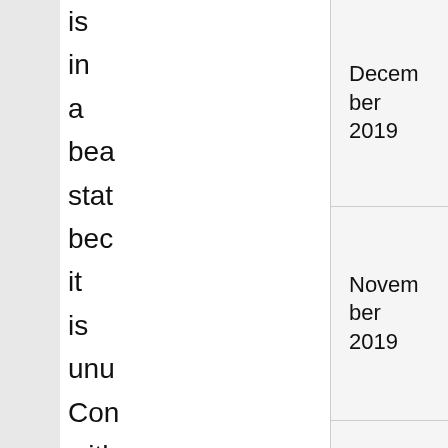|  | Date |
| --- | --- |
| is
in
a
bea
stat
bec
it
is
unu
Con
with
a
Tiffa
purs
Retu | December 2019 | November 2019 | October 2019 | September 2019 | August 2019 |